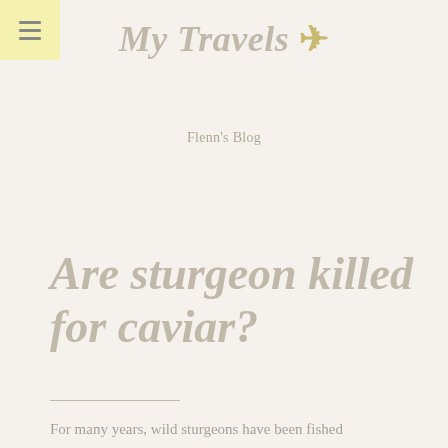My Travels ✈
Flenn's Blog
Are sturgeon killed for caviar?
For many years, wild sturgeons have been fished